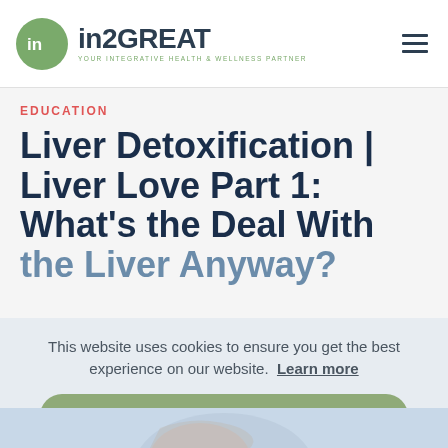in2GREAT — YOUR INTEGRATIVE HEALTH & WELLNESS PARTNER
EDUCATION
Liver Detoxification | Liver Love Part 1: What's the Deal With the Liver Anyway?
This website uses cookies to ensure you get the best experience on our website. Learn more
GOT IT!
[Figure (illustration): Partial view of a human anatomy illustration showing torso/liver area, cropped at bottom of page]